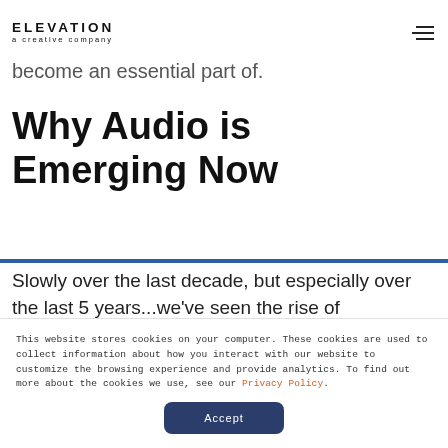ELEVATION a creative company
become an essential part of.
Why Audio is Emerging Now
Slowly over the last decade, but especially over the last 5 years...we've seen the rise of
This website stores cookies on your computer. These cookies are used to collect information about how you interact with our website to customize the browsing experience and provide analytics. To find out more about the cookies we use, see our Privacy Policy.
Accept